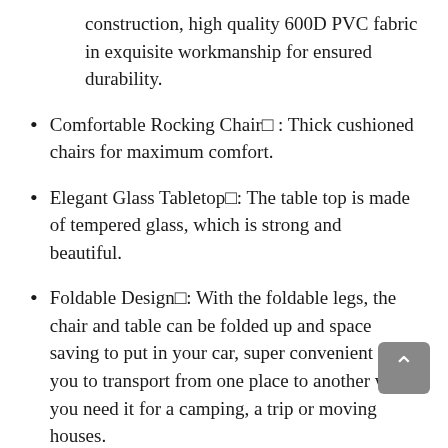construction, high quality 600D PVC fabric in exquisite workmanship for ensured durability.
Comfortable Rocking Chair□ : Thick cushioned chairs for maximum comfort.
Elegant Glass Tabletop□: The table top is made of tempered glass, which is strong and beautiful.
Foldable Design□: With the foldable legs, the chair and table can be folded up and space saving to put in your car, super convenient for you to transport from one place to another when you need it for a camping, a trip or moving houses.
Suitable for Various Places□: Stylish and perfect for any outdoor space including